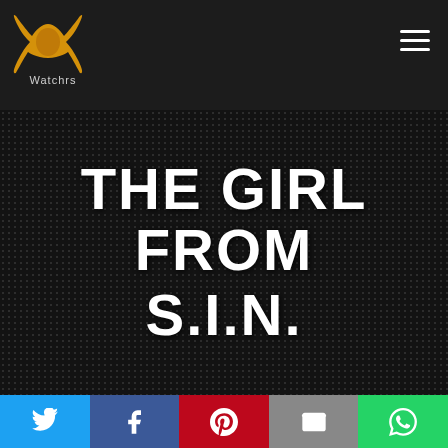Watchrs
[Figure (screenshot): Movie or show title card with dark dotted background displaying THE GIRL FROM S.I.N. in large bold white text]
[Figure (infographic): Social sharing bar with Twitter, Facebook, Pinterest, Email, and WhatsApp buttons]